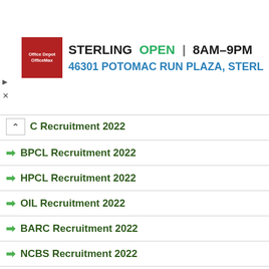[Figure (other): Advertisement banner for Office Depot/OfficeMax Sterling location showing store logo, OPEN status, hours 8AM-9PM, address 46301 Potomac Run Plaza, Sterling, and navigation icon]
C Recruitment 2022
BPCL Recruitment 2022
HPCL Recruitment 2022
OIL Recruitment 2022
BARC Recruitment 2022
NCBS Recruitment 2022
MMTC Recruitment 2022
HLL Recruitment 2022
MFL Recruitment 2022
MRPL Recruitment 2022
MDL Recruitment 2022